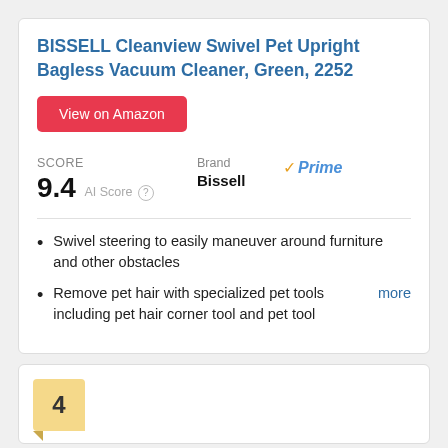BISSELL Cleanview Swivel Pet Upright Bagless Vacuum Cleaner, Green, 2252
View on Amazon
SCORE
9.4  AI Score
Brand
Bissell
Prime
Swivel steering to easily maneuver around furniture and other obstacles
Remove pet hair with specialized pet tools including pet hair corner tool and pet tool more
4